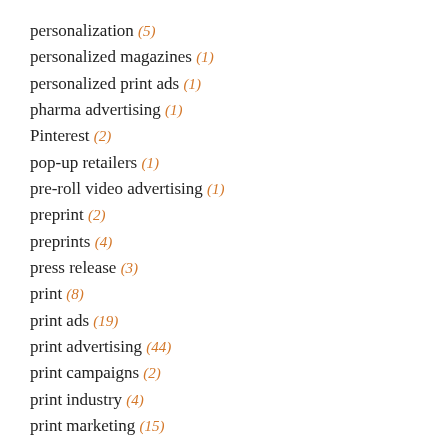personalization (5)
personalized magazines (1)
personalized print ads (1)
pharma advertising (1)
Pinterest (2)
pop-up retailers (1)
pre-roll video advertising (1)
preprint (2)
preprints (4)
press release (3)
print (8)
print ads (19)
print advertising (44)
print campaigns (2)
print industry (4)
print marketing (15)